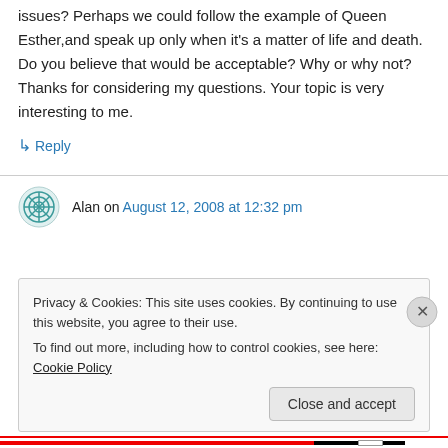issues? Perhaps we could follow the example of Queen Esther,and speak up only when it's a matter of life and death. Do you believe that would be acceptable? Why or why not? Thanks for considering my questions. Your topic is very interesting to me.
↳ Reply
Alan on August 12, 2008 at 12:32 pm
Privacy & Cookies: This site uses cookies. By continuing to use this website, you agree to their use.
To find out more, including how to control cookies, see here: Cookie Policy
Close and accept